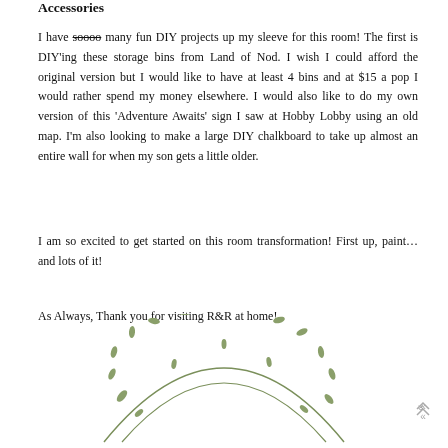Accessories
I have soooo many fun DIY projects up my sleeve for this room! The first is DIY'ing these storage bins from Land of Nod. I wish I could afford the original version but I would like to have at least 4 bins and at $15 a pop I would rather spend my money elsewhere. I would also like to do my own version of this 'Adventure Awaits' sign I saw at Hobby Lobby using an old map. I'm also looking to make a large DIY chalkboard to take up almost an entire wall for when my son gets a little older.
I am so excited to get started on this room transformation! First up, paint... and lots of it!
As Always, Thank you for visiting R&R at home!
[Figure (illustration): Decorative wreath illustration with olive/sage green vine and leaves forming a circular shape, partially visible at bottom of page.]